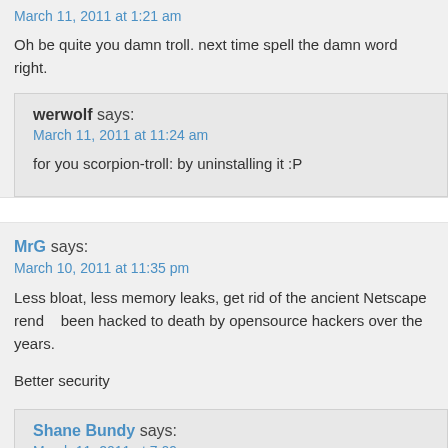March 11, 2011 at 1:21 am
Oh be quite you damn troll. next time spell the damn word right.
werwolf says:
March 11, 2011 at 11:24 am
for you scorpion-troll: by uninstalling it :P
MrG says:
March 10, 2011 at 11:35 pm
Less bloat, less memory leaks, get rid of the ancient Netscape rend... been hacked to death by opensource hackers over the years.
Better security
Shane Bundy says:
March 11, 2011 at 7:09 am